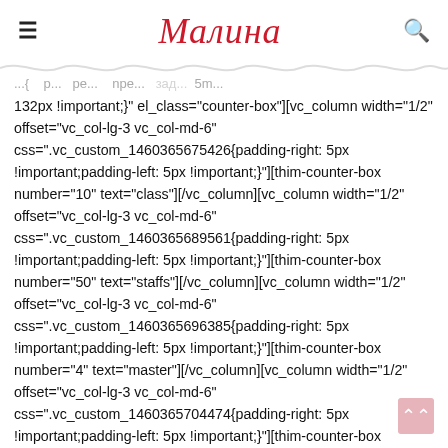Малина
...} {padding-right: 5px !important; padding-left: 5px !important;} el_class="counter-box"][vc_column width="1/2" offset="vc_col-lg-3 vc_col-md-6" css=".vc_custom_1460365675426{padding-right: 5px !important;padding-left: 5px !important;}"][thim-counter-box number="10" text="class"][/vc_column][vc_column width="1/2" offset="vc_col-lg-3 vc_col-md-6" css=".vc_custom_1460365689561{padding-right: 5px !important;padding-left: 5px !important;}"][thim-counter-box number="50" text="staffs"][/vc_column][vc_column width="1/2" offset="vc_col-lg-3 vc_col-md-6" css=".vc_custom_1460365696385{padding-right: 5px !important;padding-left: 5px !important;}"][thim-counter-box number="4" text="master"][/vc_column][vc_column width="1/2" offset="vc_col-lg-3 vc_col-md-6" css=".vc_custom_1460365704474{padding-right: 5px !important;padding-left: 5px !important;}"][thim-counter-box